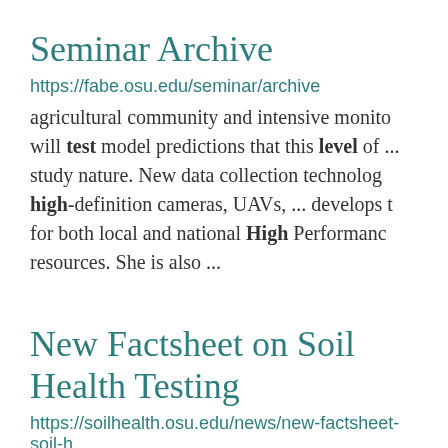Seminar Archive
https://fabe.osu.edu/seminar/archive
agricultural community and intensive monitoring will test model predictions that this level of ... study nature. New data collection technology high-definition cameras, UAVs, ... develops tr for both local and national High Performance resources. She is also ...
New Factsheet on Soil Health Testing
https://soilhealth.osu.edu/news/new-factsheet-soil-h
Choosing a Laboratory for Nutrient and Soil H Ohioline Factsheet ANR-0107 is now ... Ohio